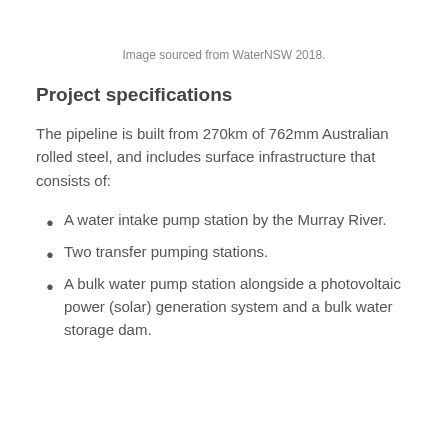Image sourced from WaterNSW 2018.
Project specifications
The pipeline is built from 270km of 762mm Australian rolled steel, and includes surface infrastructure that consists of:
A water intake pump station by the Murray River.
Two transfer pumping stations.
A bulk water pump station alongside a photovoltaic power (solar) generation system and a bulk water storage dam.